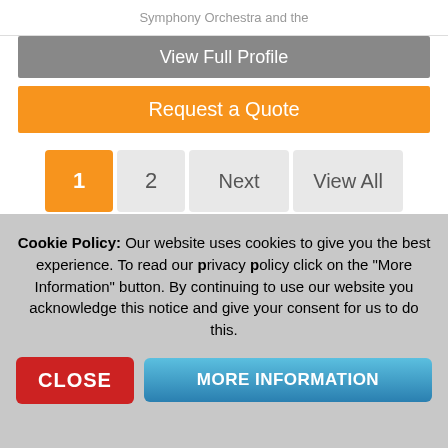Symphony Orchestra and the
View Full Profile
Request a Quote
1  2  Next  View All
Click here to view all of our Singing Teachers in United Kingdom
VIRTUAL SERVICES
QUICK SEARCH
Cookie Policy: Our website uses cookies to give you the best experience. To read our privacy policy click on the "More Information" button. By continuing to use our website you acknowledge this notice and give your consent for us to do this.
CLOSE
MORE INFORMATION